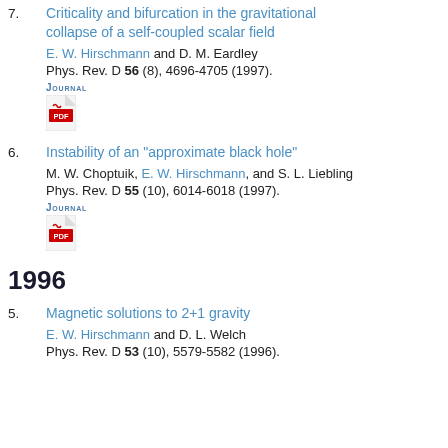7. Criticality and bifurcation in the gravitational collapse of a self-coupled scalar field. E. W. Hirschmann and D. M. Eardley. Phys. Rev. D 56 (8), 4696-4705 (1997). JOURNAL
6. Instability of an "approximate black hole". M. W. Choptuik, E. W. Hirschmann, and S. L. Liebling. Phys. Rev. D 55 (10), 6014-6018 (1997). JOURNAL
1996
5. Magnetic solutions to 2+1 gravity. E. W. Hirschmann and D. L. Welch. Phys. Rev. D 53 (10), 5579-5582 (1996).